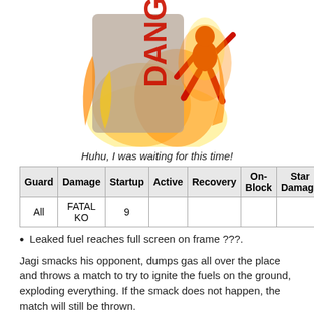[Figure (illustration): A character surrounded by flames on a danger sign background, red robotic/armored figure with fire effects]
Huhu, I was waiting for this time!
| Guard | Damage | Startup | Active | Recovery | On-Block | Star Damage |
| --- | --- | --- | --- | --- | --- | --- |
| All | FATAL KO | 9 |  |  |  |  |
Leaked fuel reaches full screen on frame ???.
Jagi smacks his opponent, dumps gas all over the place and throws a match to try to ignite the fuels on the ground, exploding everything. If the smack does not happen, the match will still be thrown.
The criterion for the actual FKO to happen is to hit the opponent with the ignited fuel. As such, there is a chance that it will not kill even after successfully hit the smack. This happens